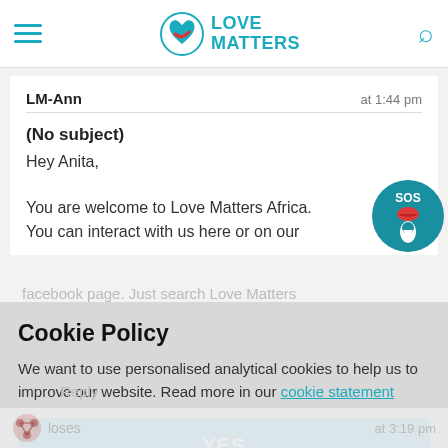Love Matters
LM-Ann   at 1:44 pm
(No subject)
Hey Anita,

You are welcome to Love Matters Africa. You can interact with us here or on our facebook page. Just search Love Matters the page. You can ask any question on Love, Sex, Relationships and we shall be more than glad to respond to you.
Cookie Policy
We want to use personalised analytical cookies to help us to improve our website. Read more in our cookie statement
YES